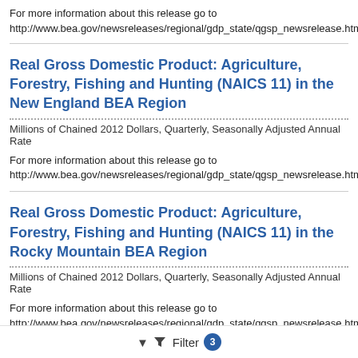For more information about this release go to http://www.bea.gov/newsreleases/regional/gdp_state/qgsp_newsrelease.htm
Real Gross Domestic Product: Agriculture, Forestry, Fishing and Hunting (NAICS 11) in the New England BEA Region
Millions of Chained 2012 Dollars, Quarterly, Seasonally Adjusted Annual Rate
For more information about this release go to http://www.bea.gov/newsreleases/regional/gdp_state/qgsp_newsrelease.htm
Real Gross Domestic Product: Agriculture, Forestry, Fishing and Hunting (NAICS 11) in the Rocky Mountain BEA Region
Millions of Chained 2012 Dollars, Quarterly, Seasonally Adjusted Annual Rate
For more information about this release go to http://www.bea.gov/newsreleases/regional/gdp_state/qgsp_newsrelease.htm
Filter 3